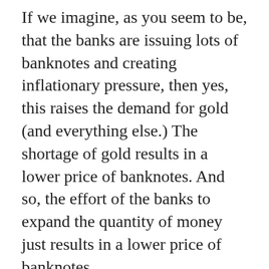If we imagine, as you seem to be, that the banks are issuing lots of banknotes and creating inflationary pressure, then yes, this raises the demand for gold (and everything else.) The shortage of gold results in a lower price of banknotes. And so, the effort of the banks to expand the quantity of money just results in a lower price of banknotes.
But, suppose the problem is with gold. A greater demand for jewelry. People try to buy gold with banknotes (like always.) But, rather than the price of gold rising, the price of banknotes fall. This creates a